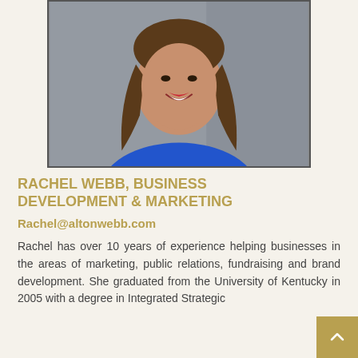[Figure (photo): Professional headshot of Rachel Webb, a woman with long brown hair, wearing a blue top, smiling against a grey background.]
RACHEL WEBB, BUSINESS DEVELOPMENT & MARKETING
Rachel@altonwebb.com
Rachel has over 10 years of experience helping businesses in the areas of marketing, public relations, fundraising and brand development. She graduated from the University of Kentucky in 2005 with a degree in Integrated Strategic